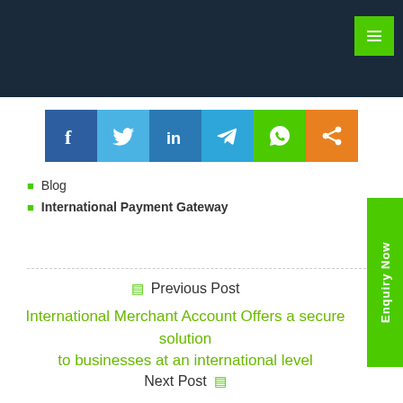[Figure (other): Dark navy header bar with green menu/hamburger button in top right corner]
[Figure (other): Social media sharing buttons row: Facebook (dark blue), Twitter (light blue), LinkedIn (blue), Telegram (blue), WhatsApp (green), Share (orange)]
Blog
International Payment Gateway
Previous Post
International Merchant Account Offers a secure solution to businesses at an international level
Next Post